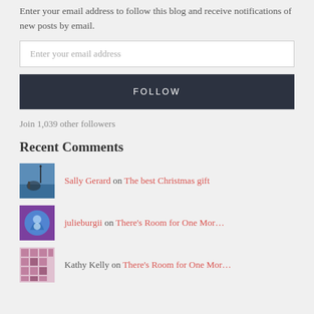Enter your email address to follow this blog and receive notifications of new posts by email.
Enter your email address
FOLLOW
Join 1,039 other followers
Recent Comments
Sally Gerard on The best Christmas gift
julieburgii on There's Room for One Mor…
Kathy Kelly on There's Room for One Mor…